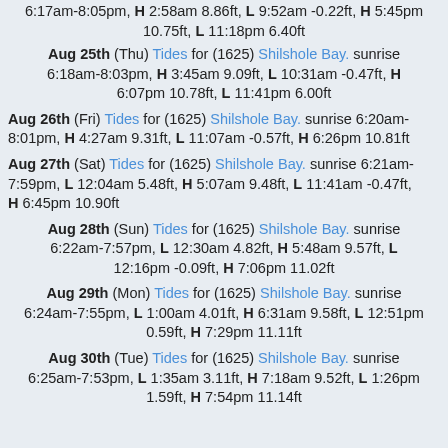6:17am-8:05pm, H 2:58am 8.86ft, L 9:52am -0.22ft, H 5:45pm 10.75ft, L 11:18pm 6.40ft
Aug 25th (Thu) Tides for (1625) Shilshole Bay. sunrise 6:18am-8:03pm, H 3:45am 9.09ft, L 10:31am -0.47ft, H 6:07pm 10.78ft, L 11:41pm 6.00ft
Aug 26th (Fri) Tides for (1625) Shilshole Bay. sunrise 6:20am-8:01pm, H 4:27am 9.31ft, L 11:07am -0.57ft, H 6:26pm 10.81ft
Aug 27th (Sat) Tides for (1625) Shilshole Bay. sunrise 6:21am-7:59pm, L 12:04am 5.48ft, H 5:07am 9.48ft, L 11:41am -0.47ft, H 6:45pm 10.90ft
Aug 28th (Sun) Tides for (1625) Shilshole Bay. sunrise 6:22am-7:57pm, L 12:30am 4.82ft, H 5:48am 9.57ft, L 12:16pm -0.09ft, H 7:06pm 11.02ft
Aug 29th (Mon) Tides for (1625) Shilshole Bay. sunrise 6:24am-7:55pm, L 1:00am 4.01ft, H 6:31am 9.58ft, L 12:51pm 0.59ft, H 7:29pm 11.11ft
Aug 30th (Tue) Tides for (1625) Shilshole Bay. sunrise 6:25am-7:53pm, L 1:35am 3.11ft, H 7:18am 9.52ft, L 1:26pm 1.59ft, H 7:54pm 11.14ft